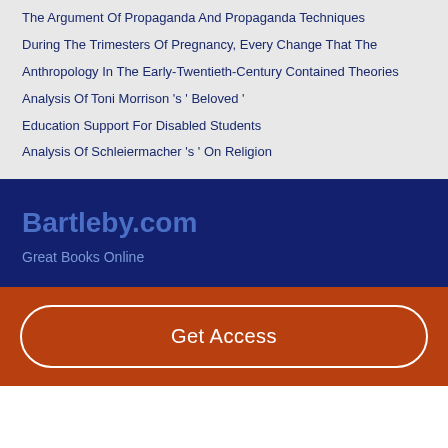The Argument Of Propaganda And Propaganda Techniques
During The Trimesters Of Pregnancy, Every Change That The
Anthropology In The Early-Twentieth-Century Contained Theories
Analysis Of Toni Morrison 's ' Beloved '
Education Support For Disabled Students
Analysis Of Schleiermacher 's ' On Religion
Bartleby.com
Great Books Online
Get Access